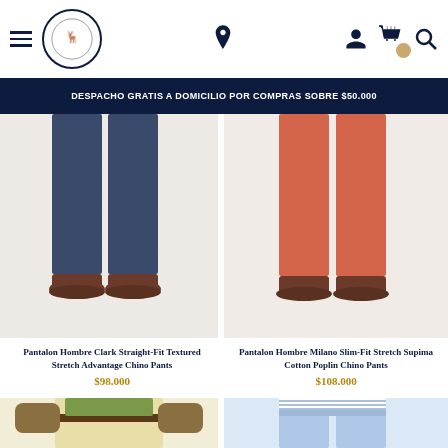Navigation header with hamburger menu, logo, location pin, user icon, cart icon, and search icon
DESPACHO GRATIS A DOMICILIO POR COMPRAS SOBRE $50.000
[Figure (photo): Dark navy textured trousers with brown leather shoes - bottom half of model]
[Figure (photo): Coral/salmon colored chino pants with brown shoes - bottom half of model]
Pantalon Hombre Clark Straight-Fit Textured Stretch Advantage Chino Pants
$98.000
Pantalon Hombre Milano Slim-Fit Stretch Supima Cotton Poplin Chino Pants
$108.000
[Figure (photo): Light yellow/beige chino pants with green shirt and brown belt - hip/waist area of model]
[Figure (photo): Light blue jeans with striped shirt - waist area of model]